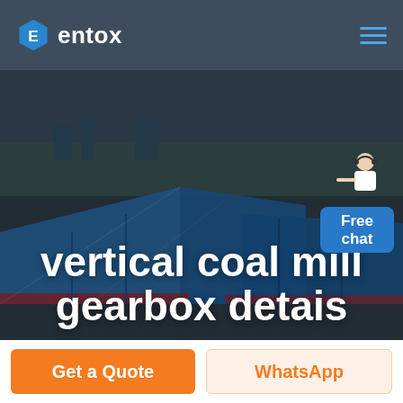[Figure (logo): Entox hexagon logo with letter E in teal/blue color]
entox
[Figure (photo): Aerial view of industrial facility with large blue warehouse/factory rooftops]
vertical coal mill gearbox detais
[Figure (illustration): Free chat widget with person in headset and blue Free chat button]
Get a Quote
WhatsApp